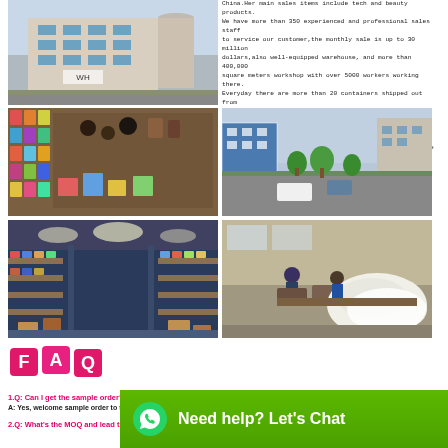[Figure (photo): Exterior of a multi-story commercial/office building with blue windows]
China.Her main sales items include tech and beauty products. We have more than 350 experienced and professional sales staff to service our customer,the monthly sale is up to 30 million dollars,also well-equipped warehouse, and more than 400,000 square meters workshop with over 5000 workers working there. Everyday there are more than 20 containers shipped out from here to worldwide place. Quality and service is always our magic words for developing, Welcome to visit us, join together with us for a pleasure business
[Figure (photo): Interior of a store with colorful products displayed on walls]
[Figure (photo): Aerial view of industrial/commercial street with buildings]
[Figure (photo): Interior of a large warehouse with shelving and boxes]
[Figure (photo): Factory workers at sewing/manufacturing workstations with fabric]
[Figure (illustration): FAQ logo with pink cube letters F, A, Q]
1.Q: Can I get the sample order?
A: Yes, welcome sample order to test and check quality. It can be paid...
2.Q: What's the MOQ and lead time?